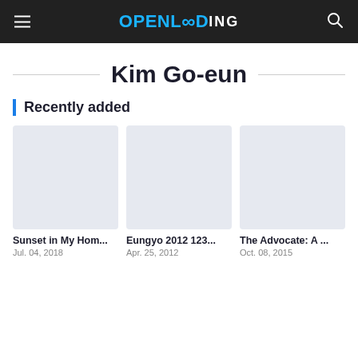OPENLOADING
Kim Go-eun
Recently added
[Figure (screenshot): Three movie/show card thumbnails (placeholder light-blue-grey rectangles)]
Sunset in My Hom...
Jul. 04, 2018
Eungyo 2012 123...
Apr. 25, 2012
The Advocate: A ...
Oct. 08, 2015